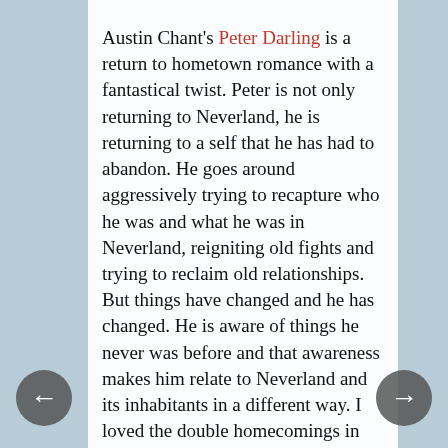Austin Chant's Peter Darling is a return to hometown romance with a fantastical twist. Peter is not only returning to Neverland, he is returning to a self that he has had to abandon. He goes around aggressively trying to recapture who he was and what he was in Neverland, reigniting old fights and trying to reclaim old relationships.  But things have changed and he has changed. He is aware of things he never was before and that awareness makes him relate to Neverland and its inhabitants in a different way.  I loved the double homecomings in this book and what they meant for Peter and James.
In Mia Sosa's Pretending He's Mine, Ashley is desperate to avoid going back home but her brother's wedding is not something she wants to miss. She needs her cousin to come along...